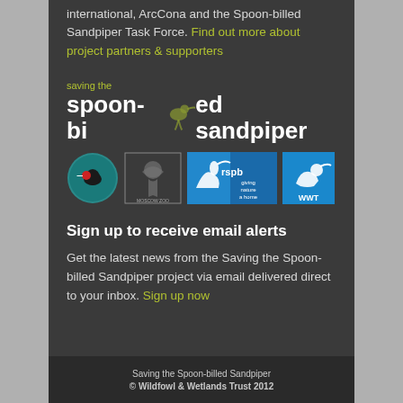international, ArcCona and the Spoon-billed Sandpiper Task Force. Find out more about project partners & supporters
[Figure (logo): Saving the spoon-billed sandpiper logo with bird silhouette and partner logos (BTO, Moscow Zoo, RSPB, WWT)]
Sign up to receive email alerts
Get the latest news from the Saving the Spoon-billed Sandpiper project via email delivered direct to your inbox. Sign up now
Saving the Spoon-billed Sandpiper
© Wildfowl & Wetlands Trust 2012